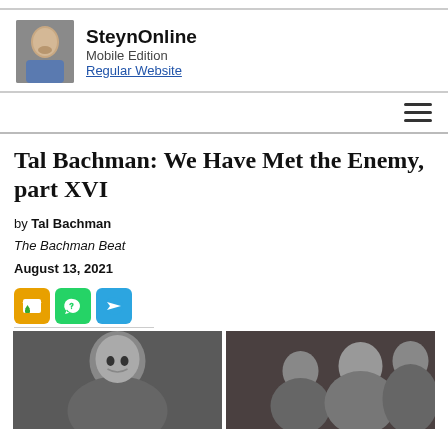SteynOnline Mobile Edition Regular Website
Tal Bachman: We Have Met the Enemy, part XVI
by Tal Bachman
The Bachman Beat
August 13, 2021
[Figure (photo): Two black-and-white photographs side by side: left shows a child portrait, right shows a family group photo]
[Figure (logo): SteynOnline logo with portrait photo of Mark Steyn]